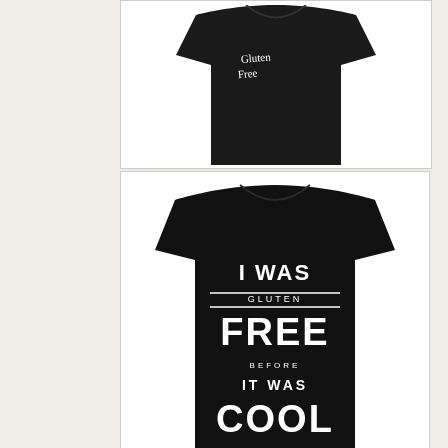[Figure (photo): Black t-shirt with hand-written style gluten-free text, partially visible at top]
[Figure (photo): Black t-shirt with white bold text reading 'I WAS GLUTEN FREE BEFORE IT WAS COOL']
TAGS
amazon
Baked goods
Baking
Breakfast
Celiac disease
Children
Christmas
Cookies
Cooking
Dairy free
Dessert
Desserts
Diet
Dinner
Eating out
Entrees
Events
Foods
Gluten
Gluten free
Gluten free food